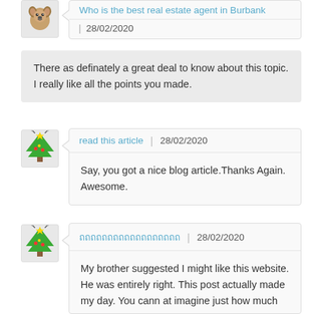Who is the best real estate agent in Burbank | 28/02/2020
There as definately a great deal to know about this topic. I really like all the points you made.
read this article | 28/02/2020
Say, you got a nice blog article.Thanks Again. Awesome.
ถถถถถถถถถถถถถถถถถถ | 28/02/2020
My brother suggested I might like this website. He was entirely right. This post actually made my day. You cann at imagine just how much time I had spent for this information! Thanks!